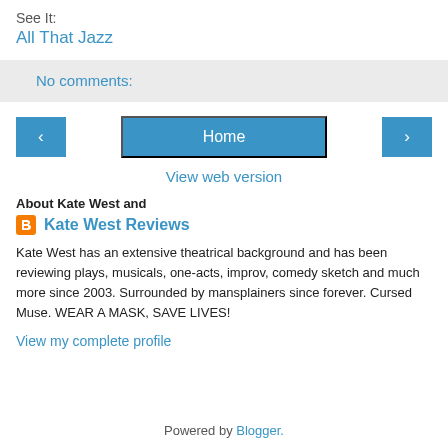See It:
All That Jazz
No comments:
‹   Home   ›
View web version
About Kate West and
Kate West Reviews
Kate West has an extensive theatrical background and has been reviewing plays, musicals, one-acts, improv, comedy sketch and much more since 2003. Surrounded by mansplainers since forever. Cursed Muse. WEAR A MASK, SAVE LIVES!
View my complete profile
Powered by Blogger.